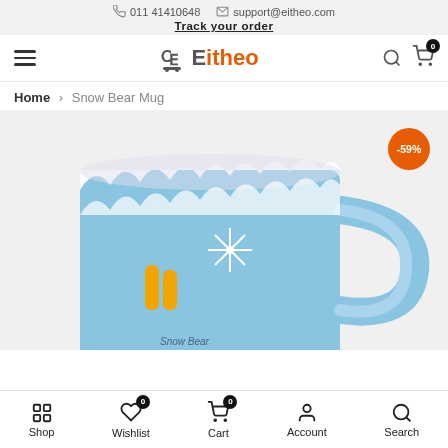011 41410648   support@eitheo.com   Track your order
[Figure (logo): Eitheo e-commerce logo with shopping cart icon, hamburger menu, search and cart icons with badge showing 0]
Home > Snow Bear Mug
[Figure (photo): Snow Bear Mug product photo - a blue ceramic mug with snow/winter design, twisted handle, snowflakes, and a bear figure. Orange discount badge showing -59% in top right.]
Shop   Wishlist 0   Cart 0   Account   Search